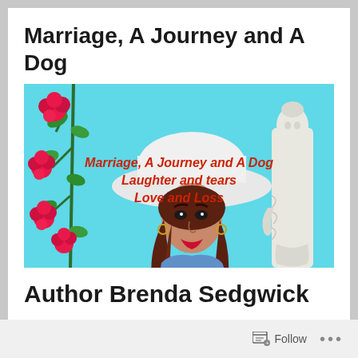Marriage, A Journey and A Dog
[Figure (illustration): Book cover illustration with cyan background showing a woman in a wide-brim hat with long brown hair and red lips on the left, pink roses on a vine on the far left, and a classical Greek Venus de Milo statue on the right. Red italic text overlay reads: 'Marriage, A Journey and A Dog / Laughter and tears / Love and Loss']
Author Brenda Sedgwick
Follow ...